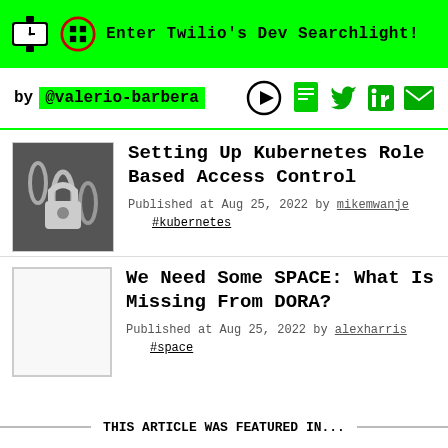Enter Twilio's Dev Searchlight!
by @valerio-barbera
Setting Up Kubernetes Role Based Access Control
Published at Aug 25, 2022 by mikemwanje #kubernetes
We Need Some SPACE: What Is Missing From DORA?
Published at Aug 25, 2022 by alexharris #space
THIS ARTICLE WAS FEATURED IN...